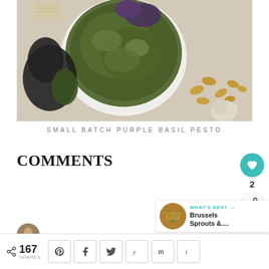[Figure (photo): Overhead photo of a white bowl filled with green-purple pesto sauce, surrounded by pine nuts, garlic, and purple basil leaves on a light wooden surface]
SMALL BATCH PURPLE BASIL PESTO
COMMENTS
167 SHARES
WHAT'S NEXT → Brussels Sprouts &....